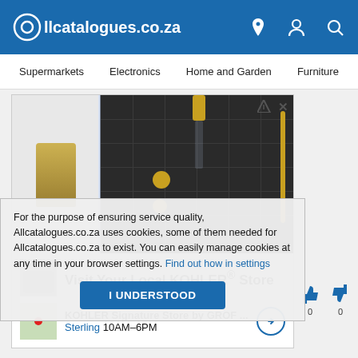Allcatalogues.co.za
Supermarkets  Electronics  Home and Garden  Furniture
[Figure (screenshot): Advertisement showing a luxury bathroom shower with dark tiles and gold fixtures. Includes text 'Visit Your Local KOHLER® Store' and 'KOHLER Signature Store by GROF ... Sterling 10AM–6PM']
For the purpose of ensuring service quality, Allcatalogues.co.za uses cookies, some of them needed for Allcatalogues.co.za to exist. You can easily manage cookies at any time in your browser settings. Find out how in settings
I UNDERSTOOD